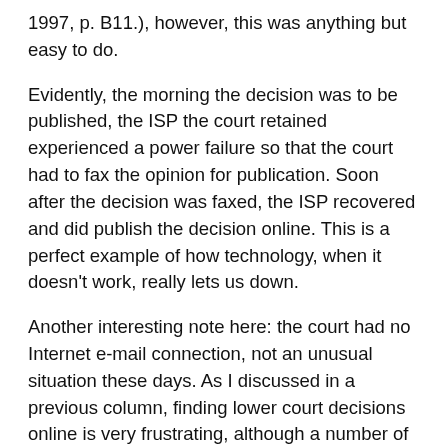1997, p. B11.), however, this was anything but easy to do.
Evidently, the morning the decision was to be published, the ISP the court retained experienced a power failure so that the court had to fax the opinion for publication. Soon after the decision was faxed, the ISP recovered and did publish the decision online. This is a perfect example of how technology, when it doesn't work, really lets us down.
Another interesting note here: the court had no Internet e-mail connection, not an unusual situation these days. As I discussed in a previous column, finding lower court decisions online is very frustrating, although a number of state courts do have Web sites. Some of these sites do have appellate decisions available, but few, if any, have lower court decisions. A comprehensive list of th with links, can be found in the annotated bibliography, "Electronic Access to Court Documents,"